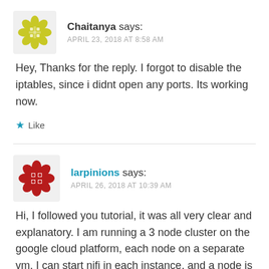Chaitanya says:
APRIL 23, 2018 AT 8:58 AM
Hey, Thanks for the reply. I forgot to disable the iptables, since i didnt open any ports. Its working now.
Like
larpinions says:
APRIL 26, 2018 AT 10:39 AM
Hi, I followed you tutorial, it was all very clear and explanatory. I am running a 3 node cluster on the google cloud platform, each node on a separate vm. I can start nifi in each instance, and a node is